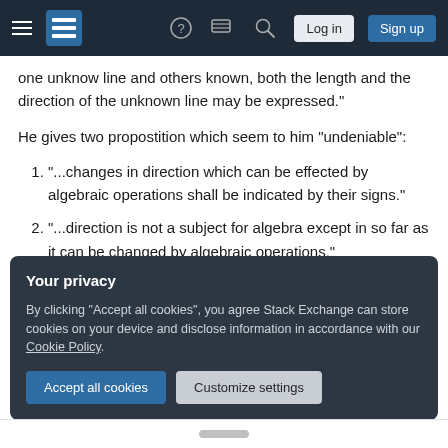[Figure (screenshot): Stack Exchange navigation bar with hamburger menu, logo, help icon, chat icon, search icon, Log in button, and Sign up button]
one unknow line and others known, both the length and the direction of the unknown line may be expressed."
He gives two propostition which seem to him "undeniable":
1. "...changes in direction which can be effected by algebraic operations shall be indicated by their signs."
2. "...direction is not a subject for algebra except in so far as it can be changed by algebraic operations."
Your privacy
By clicking "Accept all cookies", you agree Stack Exchange can store cookies on your device and disclose information in accordance with our Cookie Policy.